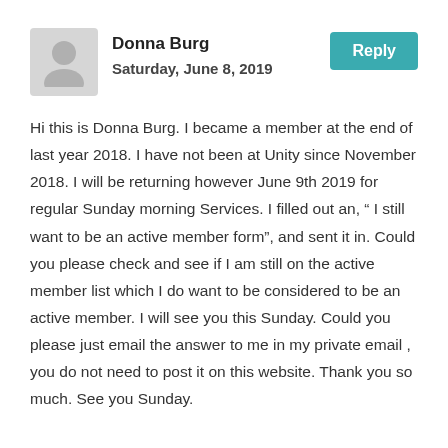Donna Burg
Saturday, June 8, 2019
Reply
Hi this is Donna Burg. I became a member at the end of last year 2018. I have not been at Unity since November 2018. I will be returning however June 9th 2019 for regular Sunday morning Services. I filled out an, “ I still want to be an active member form”, and sent it in. Could you please check and see if I am still on the active member list which I do want to be considered to be an active member. I will see you this Sunday. Could you please just email the answer to me in my private email , you do not need to post it on this website. Thank you so much. See you Sunday.